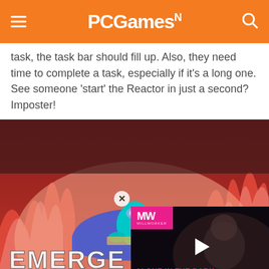PCGamesN
task, the task bar should fill up. Also, they need time to complete a task, especially if it's a long one. See someone 'start' the Reactor in just a second? Imposter!
[Figure (screenshot): Among Us gameplay screenshot showing a cyan crewmate character at a workstation with red flame-like decorations in the background, and partial text reading 'EMERGENCY MEETING'. An overlaid video thumbnail shows a player with 'ALONE IN THE DARK REMAKE' title and MW (Millworker) logo.]